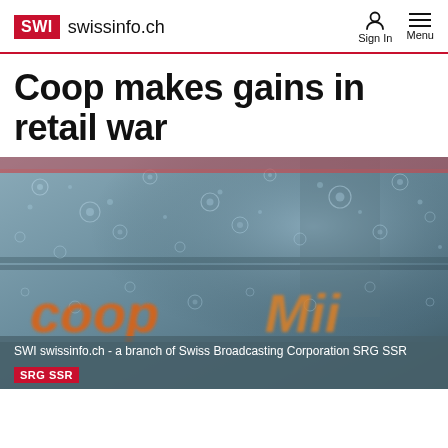SWI swissinfo.ch | Sign In | Menu
Coop makes gains in retail war
[Figure (photo): Rain-covered window with blurred orange Coop and Migros logos visible through raindrops on glass]
SWI swissinfo.ch - a branch of Swiss Broadcasting Corporation SRG SSR